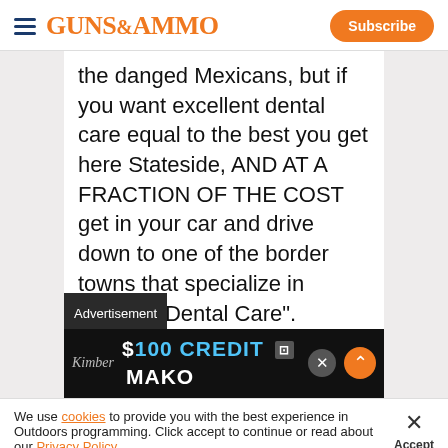GUNS&AMMO | Subscribe
the danged Mexicans, but if you want excellent dental care equal to the best you get here Stateside, AND AT A FRACTION OF THE COST get in your car and drive down to one of the border towns that specialize in "Yankee Dental Care". Matamoros, the Mexican side of Brownsville, ample. Or
Advertisement $100 CREDIT MAKO
We use cookies to provide you with the best experience in Outdoors programming. Click accept to continue or read about our Privacy Policy.